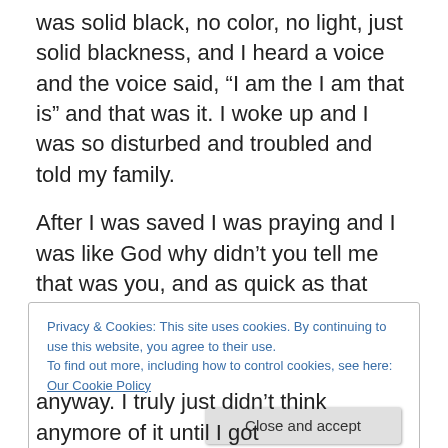was solid black, no color, no light, just solid blackness, and I heard a voice and the voice said, “I am the I am that is” and that was it. I woke up and I was so disturbed and troubled and told my family.
After I was saved I was praying and I was like God why didn’t you tell me that was you, and as quick as that went through my mind, it came back to my mind, that I HAD been told. Even the name of the person who told me came flooding back, I had this dream during like an afternoon nap and my brother had a friend who came right after I
Privacy & Cookies: This site uses cookies. By continuing to use this website, you agree to their use.
To find out more, including how to control cookies, see here: Our Cookie Policy
Close and accept
anyway. I truly just didn’t think anymore of it until I got